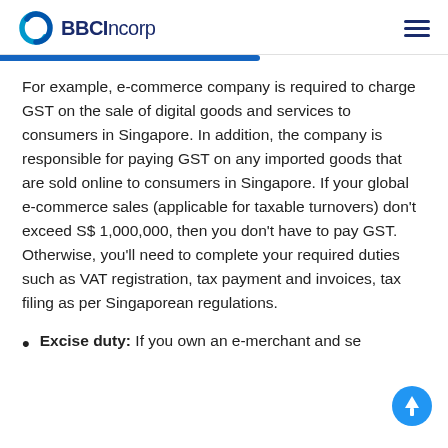BBCIncorp
For example, e-commerce company is required to charge GST on the sale of digital goods and services to consumers in Singapore. In addition, the company is responsible for paying GST on any imported goods that are sold online to consumers in Singapore. If your global e-commerce sales (applicable for taxable turnovers) don't exceed S$ 1,000,000, then you don't have to pay GST. Otherwise, you'll need to complete your required duties such as VAT registration, tax payment and invoices, tax filing as per Singaporean regulations.
Excise duty: If you own an e-merchant and se...